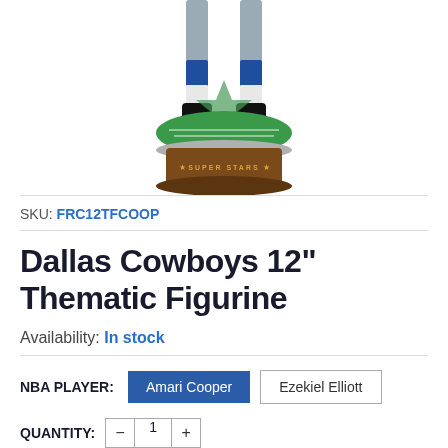[Figure (photo): Partial view of a Dallas Cowboys 12 inch thematic figurine showing legs in football uniform standing on a green base with a star emblem and brown pedestal]
SKU: FRC12TFCOOP
Dallas Cowboys 12" Thematic Figurine
Availability: In stock
NBA PLAYER: Amari Cooper   Ezekiel Elliott
QUANTITY: - 1 +